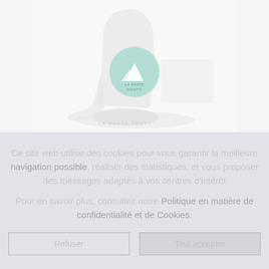[Figure (photo): Faded/washed-out photo of a ski boot with a circular mountain logo reading 'La Haute Route' overlaid on it. The image appears very light/desaturated.]
Ce site web utilise des cookies pour vous garantir la meilleure navigation possible, réaliser des statistiques, et vous proposer des messages adaptés à vos centres d'intérêt
Pour en savoir plus, consultez notre Politique en matière de confidentialité et de Cookies.
Refuser
Tout accepter